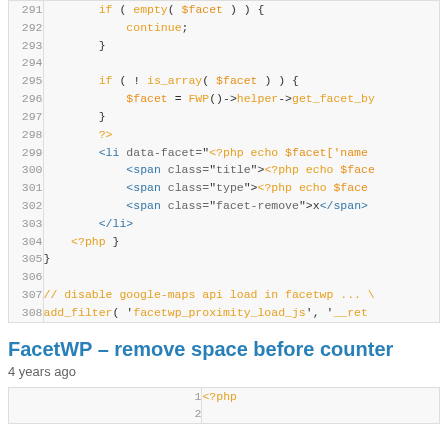[Figure (screenshot): Code block showing PHP/HTML code lines 291-308 with syntax highlighting]
FacetWP – remove space before counter
4 years ago
[Figure (screenshot): Code block starting at line 1 with <?php tag]